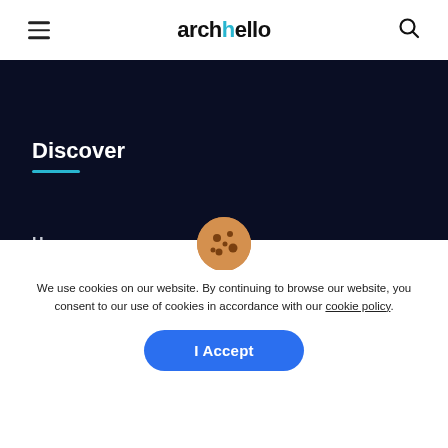archello
Discover
Home
Projects
Products
Inspiration
We use cookies on our website. By continuing to browse our website, you consent to our use of cookies in accordance with our cookie policy.
I Accept